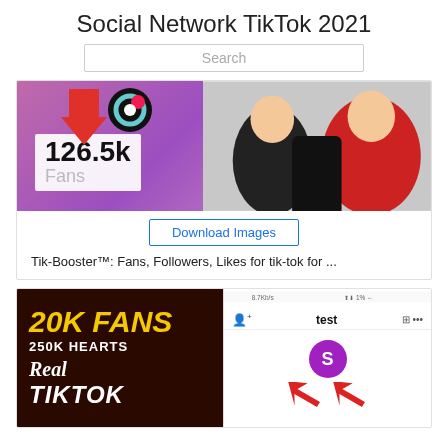Social Network TikTok 2021
Search
[Figure (screenshot): TikTok fans booster app screenshot showing 126.5k Fans with red arrow and two people reacting to phone]
Download Images
Tik-Booster™: Fans, Followers, Likes for tik-tok for ...
[Figure (screenshot): Second TikTok social network image showing 20K FANS 250K HEARTS Real TIKTOK text on dark background and phone showing TikTok profile with test account, 26 posts, 21.7k, 250.9k stats and red arrows]